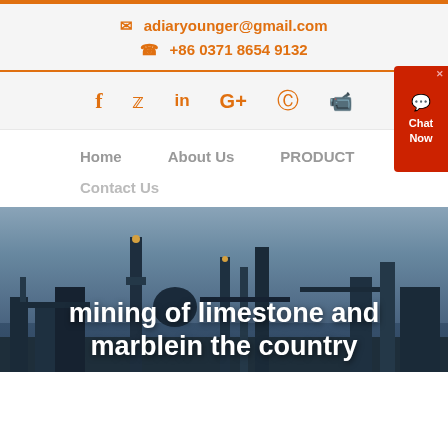adiaryounger@gmail.com  +86 0371 8654 9132
[Figure (infographic): Social media icons row: Facebook, Twitter, LinkedIn, Google+, Pinterest, YouTube in orange]
[Figure (infographic): Chat Now widget — red rounded rectangle with chat bubble icon and text Chat Now]
Home   About Us   PRODUCT   CASE
Contact Us
[Figure (photo): Industrial plant / refinery silhouette against a dark blue-grey sky at dusk or evening]
mining of limestone and marblein the country